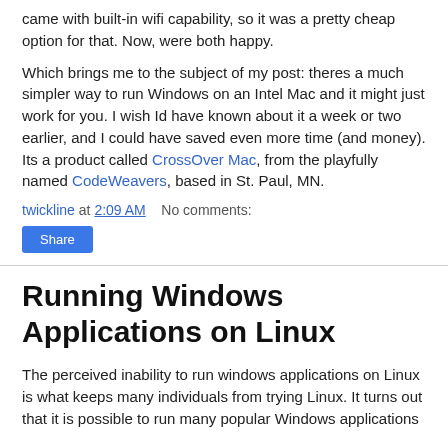came with built-in wifi capability, so it was a pretty cheap option for that. Now, were both happy.
Which brings me to the subject of my post: theres a much simpler way to run Windows on an Intel Mac and it might just work for you. I wish Id have known about it a week or two earlier, and I could have saved even more time (and money). Its a product called CrossOver Mac, from the playfully named CodeWeavers, based in St. Paul, MN.
twickline at 2:09 AM    No comments:
Share
Running Windows Applications on Linux
The perceived inability to run windows applications on Linux is what keeps many individuals from trying Linux. It turns out that it is possible to run many popular Windows applications